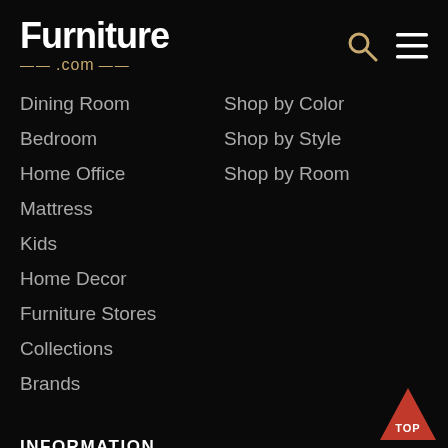[Figure (logo): Furniture.com logo with white bold 'Furniture' text and gold '.com' with dashes underneath]
[Figure (other): Search icon (magnifying glass) and hamburger menu icon in gold/white on dark background]
Dining Room
Bedroom
Home Office
Mattress
Kids
Home Decor
Furniture Stores
Collections
Brands
Shop by Color
Shop by Style
Shop by Room
INFORMATION
About Us
Order Status
Privacy Notice